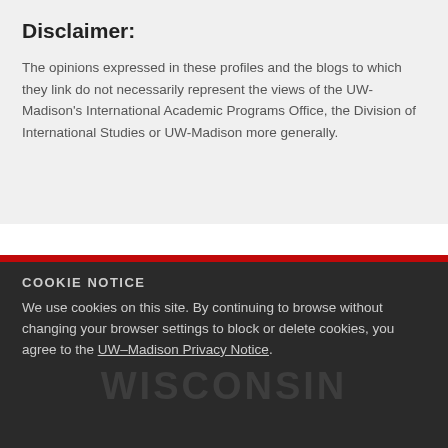Disclaimer:
The opinions expressed in these profiles and the blogs to which they link do not necessarily represent the views of the UW-Madison’s International Academic Programs Office, the Division of International Studies or UW-Madison more generally.
COOKIE NOTICE
We use cookies on this site. By continuing to browse without changing your browser settings to block or delete cookies, you agree to the UW–Madison Privacy Notice.
GOT IT!